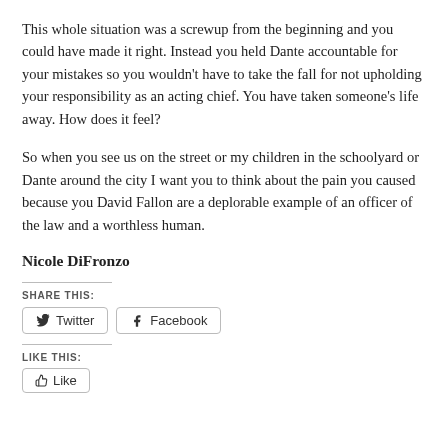This whole situation was a screwup from the beginning and you could have made it right. Instead you held Dante accountable for your mistakes so you wouldn't have to take the fall for not upholding your responsibility as an acting chief. You have taken someone's life away. How does it feel?
So when you see us on the street or my children in the schoolyard or Dante around the city I want you to think about the pain you caused because you David Fallon are a deplorable example of an officer of the law and a worthless human.
Nicole DiFronzo
SHARE THIS:
Twitter  Facebook
LIKE THIS: